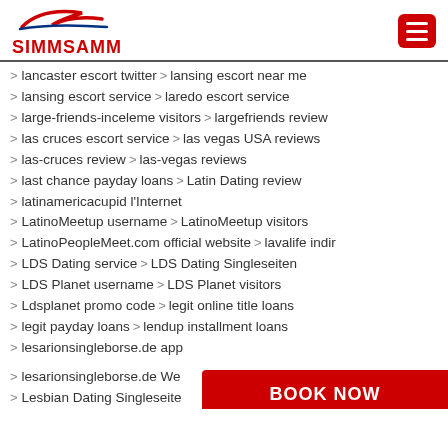SIMMSAMM
lancaster escort twitter  lansing escort near me
lansing escort service  laredo escort service
large-friends-inceleme visitors  largefriends review
las cruces escort service  las vegas USA reviews
las-cruces review  las-vegas reviews
last chance payday loans  Latin Dating review
latinamericacupid l'Internet
LatinoMeetup username  LatinoMeetup visitors
LatinoPeopleMeet.com official website  lavalife indir
LDS Dating service  LDS Dating Singleseiten
LDS Planet username  LDS Planet visitors
Ldsplanet promo code  legit online title loans
legit payday loans  lendup installment loans
lesarionsingleborse.de app
lesarionsingleborse.de We...
Lesbian Dating Singleseite...  ...ieview